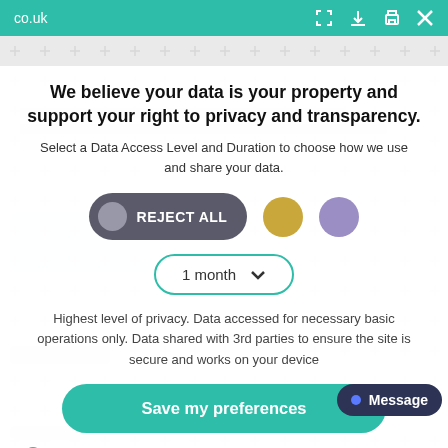co.uk
We believe your data is your property and support your right to privacy and transparency.
Select a Data Access Level and Duration to choose how we use and share your data.
[Figure (screenshot): Privacy consent modal with REJECT ALL button (dark grey pill), a gold circle button, a purple circle button, and a '1 month' dropdown selector]
Highest level of privacy. Data accessed for necessary basic operations only. Data shared with 3rd parties to ensure the site is secure and works on your device
Save my preferences
Customize
Privacy policy
Message